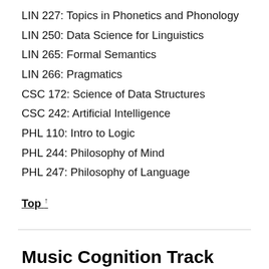LIN 227: Topics in Phonetics and Phonology
LIN 250: Data Science for Linguistics
LIN 265: Formal Semantics
LIN 266: Pragmatics
CSC 172: Science of Data Structures
CSC 242: Artificial Intelligence
PHL 110: Intro to Logic
PHL 244: Philosophy of Mind
PHL 247: Philosophy of Language
Top ↑
Music Cognition Track
The track in music cognition focuses on the scientific study of musical perception, experience, and behavior. A variety